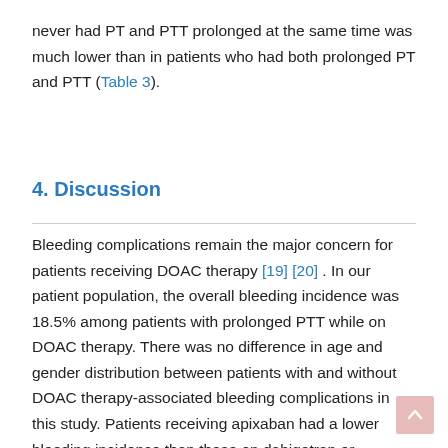never had PT and PTT prolonged at the same time was much lower than in patients who had both prolonged PT and PTT (Table 3).
4. Discussion
Bleeding complications remain the major concern for patients receiving DOAC therapy [19] [20] . In our patient population, the overall bleeding incidence was 18.5% among patients with prolonged PTT while on DOAC therapy. There was no difference in age and gender distribution between patients with and without DOAC therapy-associated bleeding complications in this study. Patients receiving apixaban had a lower bleeding incidence than those on dabigatran or rivaroxaban. Apixaban has been shown to have the benefit of lower bleeding incidence than dabigatran and rivaroxaban in other studies as well [21] .